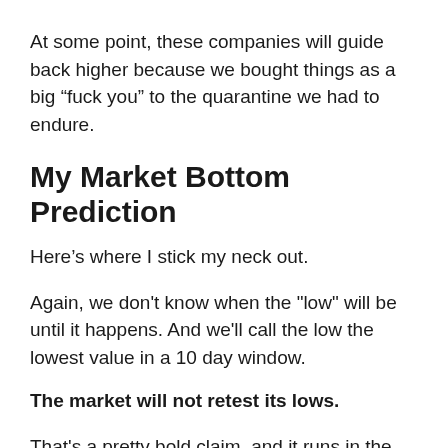At some point, these companies will guide back higher because we bought things as a big “fuck you” to the quarantine we had to endure.
My Market Bottom Prediction
Here’s where I stick my neck out.
Again, we don't know when the "low" will be until it happens. And we'll call the low the lowest value in a 10 day window.
The market will not retest its lows.
That's a pretty bold claim, and it runs in the face of